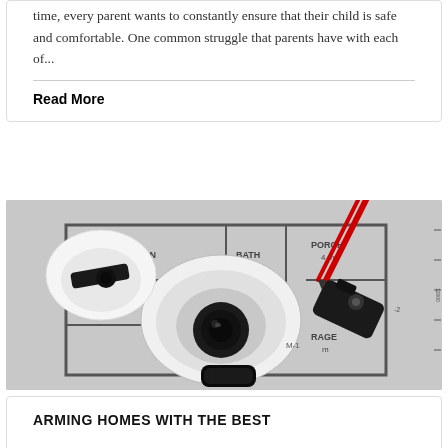time, every parent wants to constantly ensure that their child is safe and comfortable. One common struggle that parents have with each of...
Read More
[Figure (photo): Security cameras and other home security devices placed on top of an architectural floor plan blueprint showing KITCHEN, BATH, PORCH 4m, DINING 23m, GARAGE rooms. A red pencil/compass tool is visible. Black and white security cameras dominate the scene.]
ARMING HOMES WITH THE BEST